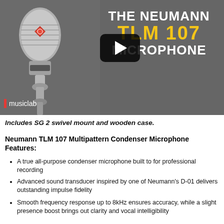[Figure (screenshot): Video thumbnail/banner showing a Neumann TLM 107 microphone on a gray background, with a YouTube-style play button, and text overlay reading 'THE NEUMANN TLM 107 MICROPHONE'. A 'musiclab' logo is in the bottom-left corner.]
Includes SG 2 swivel mount and wooden case.
Neumann TLM 107 Multipattern Condenser Microphone Features:
A true all-purpose condenser microphone built to for professional recording
Advanced sound transducer inspired by one of Neumann's D-01 delivers outstanding impulse fidelity
Smooth frequency response up to 8kHz ensures accuracy, while a slight presence boost brings out clarity and vocal intelligibility